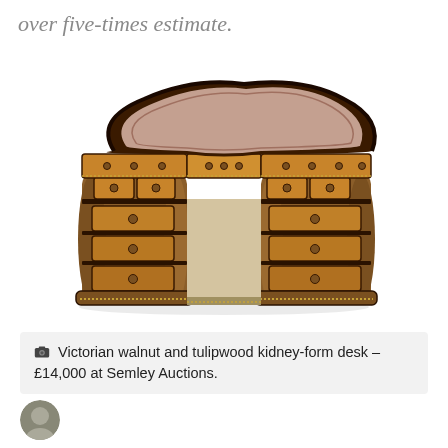over five-times estimate.
[Figure (photo): Victorian walnut and tulipwood kidney-form desk, photographed against white background. The desk has a distinctive kidney/bean shape with a leather writing surface inset into the top. It features two curved pedestal bases with multiple drawers on each side, ornate brass bead trim details, dark ebonized banding, and decorative turned knob handles on each drawer.]
Victorian walnut and tulipwood kidney-form desk – £14,000 at Semley Auctions.